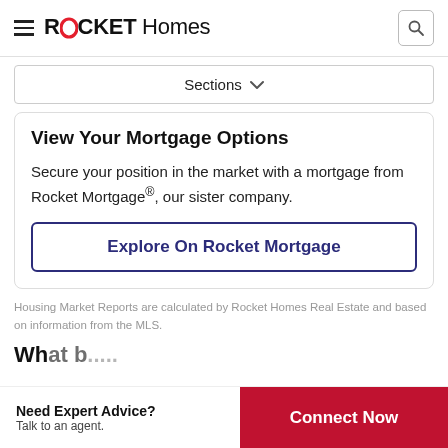ROCKET Homes
Sections
View Your Mortgage Options
Secure your position in the market with a mortgage from Rocket Mortgage®, our sister company.
Explore On Rocket Mortgage
Housing Market Reports are calculated by Rocket Homes Real Estate and based on information from the MLS.
Need Expert Advice? Talk to an agent.
Connect Now